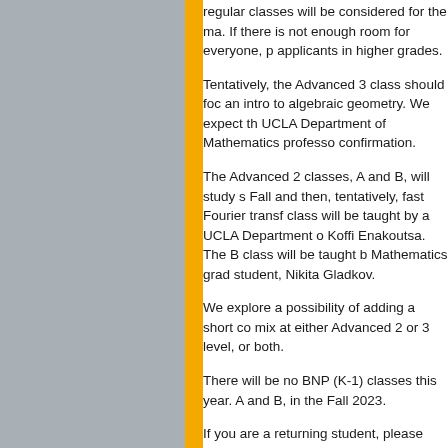regular classes will be considered for the ma. If there is not enough room for everyone, p applicants in higher grades.
Tentatively, the Advanced 3 class should foc an intro to algebraic geometry. We expect th UCLA Department of Mathematics professo confirmation.
The Advanced 2 classes, A and B, will study s Fall and then, tentatively, fast Fourier transf class will be taught by a UCLA Department o Koffi Enakoutsa. The B class will be taught b Mathematics grad student, Nikita Gladkov.
We explore a possibility of adding a short co mix at either Advanced 2 or 3 level, or both.
There will be no BNP (K-1) classes this year. A and B, in the Fall 2023.
If you are a returning student, please use th